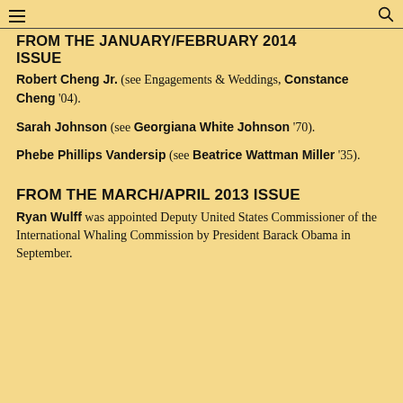FROM THE JANUARY/FEBRUARY 2014 ISSUE
FROM THE JANUARY/FEBRUARY 2014 ISSUE
Robert Cheng Jr. (see Engagements & Weddings, Constance Cheng '04).
Sarah Johnson (see Georgiana White Johnson '70).
Phebe Phillips Vandersip (see Beatrice Wattman Miller '35).
FROM THE MARCH/APRIL 2013 ISSUE
Ryan Wulff was appointed Deputy United States Commissioner of the International Whaling Commission by President Barack Obama in September.